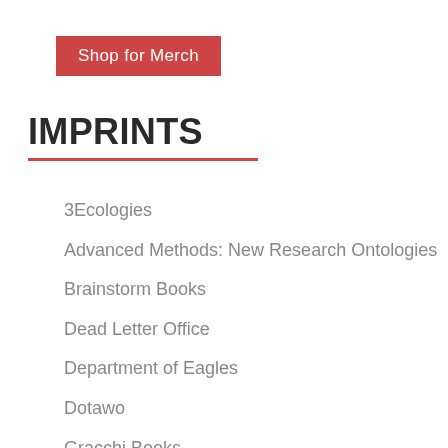Shop for Merch
IMPRINTS
3Ecologies
Advanced Methods: New Research Ontologies
Brainstorm Books
Dead Letter Office
Department of Eagles
Dotawo
Gracchi Books
Lamma